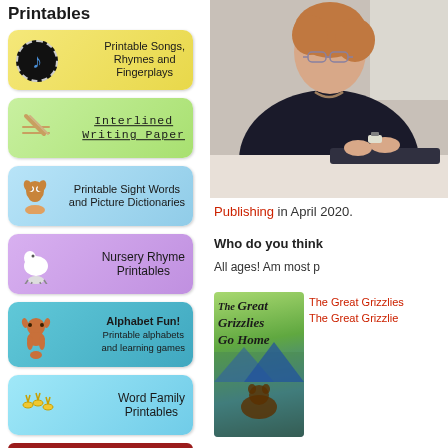Printables
[Figure (illustration): Button: Printable Songs, Rhymes and Fingerplays with musical note icon on yellow background]
[Figure (illustration): Button: Interlined Writing Paper with pencil icon on green background]
[Figure (illustration): Button: Printable Sight Words and Picture Dictionaries with owl icon on blue background]
[Figure (illustration): Button: Nursery Rhyme Printables with sheep icon on purple background]
[Figure (illustration): Button: Alphabet Fun! Printable alphabets and learning games with monkey icon on teal background]
[Figure (illustration): Button: Word Family Printables with bee icon on light blue background]
[Figure (illustration): Translate button in dark red]
[Figure (photo): Woman with glasses and dark sweater typing on laptop at desk]
Publishing in April 2020.
Who do you think
All ages! Am most p
[Figure (illustration): Book cover: The Great Grizzlies Go Home with illustrated bear in nature scene]
The Great Grizzlies
The Great Grizzlie